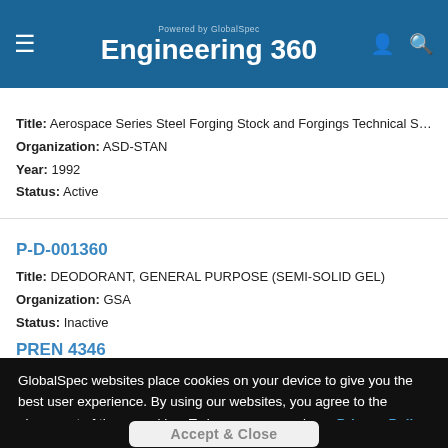Powered by GlobalSpec Engineering 360
Title: Aerospace Series Steel Forging Stock and Forgings Technical Spe...
Organization: ASD-STAN
Year: 1992
Status: Active
P-D-001360
Title: DEODORANT, GENERAL PURPOSE (SEMI-SOLID GEL)
Organization: GSA
Status: Inactive
PREN 4346
GlobalSpec websites place cookies on your device to give you the best user experience. By using our websites, you agree to the placement of these cookies. To learn more, read our Privacy Policy
Accept & Close